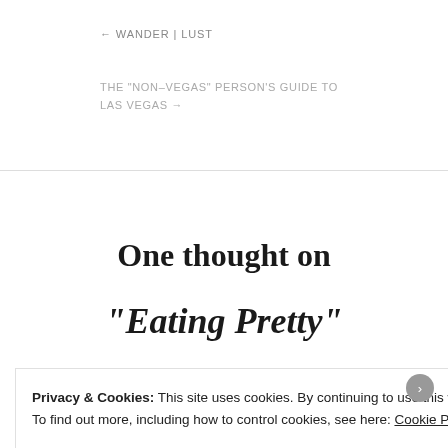← WANDER | LUST
THE “NON–VEGAS” PERSON’S GUIDE TO LAS VEGAS →
One thought on
“Eating Pretty”
Privacy & Cookies: This site uses cookies. By continuing to use this website, you agree to their use.
To find out more, including how to control cookies, see here: Cookie Policy
Close and accept